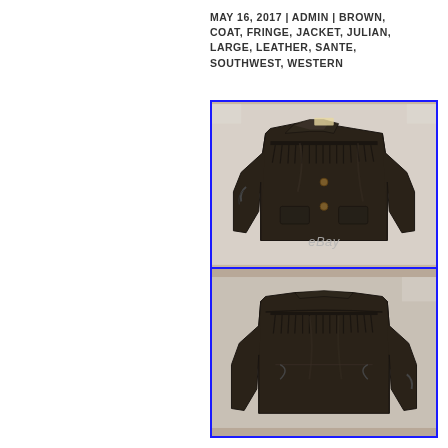MAY 16, 2017 | ADMIN | BROWN, COAT, FRINGE, JACKET, JULIAN, LARGE, LEATHER, SANTE, SOUTHWEST, WESTERN
[Figure (photo): Front view of a dark brown leather fringe western jacket displayed on a white background with blue border frame. The jacket features fringe across the chest yoke, front buttons, two front pockets, and braided trim on the sleeves. An eBay watermark appears at the bottom.]
[Figure (photo): Back view of the same dark brown leather fringe western jacket. The back yoke has fringe trim, braided detail on the back panel, and braided sleeve trim. Displayed on a white background with a blue border frame.]